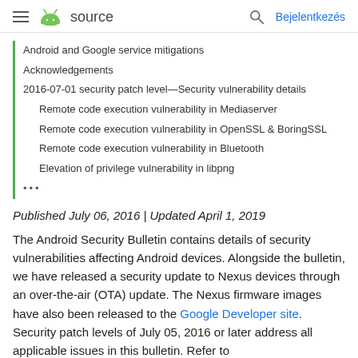≡ android source   🔍 Bejelentkezés
Android and Google service mitigations
Acknowledgements
2016-07-01 security patch level—Security vulnerability details
Remote code execution vulnerability in Mediaserver
Remote code execution vulnerability in OpenSSL & BoringSSL
Remote code execution vulnerability in Bluetooth
Elevation of privilege vulnerability in libpng
•••
Published July 06, 2016 | Updated April 1, 2019
The Android Security Bulletin contains details of security vulnerabilities affecting Android devices. Alongside the bulletin, we have released a security update to Nexus devices through an over-the-air (OTA) update. The Nexus firmware images have also been released to the Google Developer site. Security patch levels of July 05, 2016 or later address all applicable issues in this bulletin. Refer to